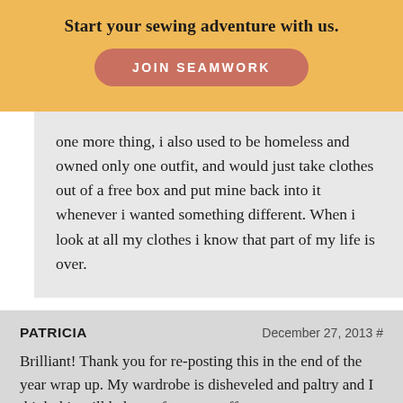Start your sewing adventure with us.
JOIN SEAMWORK
one more thing, i also used to be homeless and owned only one outfit, and would just take clothes out of a free box and put mine back into it whenever i wanted something different. When i look at all my clothes i know that part of my life is over.
PATRICIA    December 27, 2013 #
Brilliant! Thank you for re-posting this in the end of the year wrap up. My wardrobe is disheveled and paltry and I think this will help me focus my efforts.